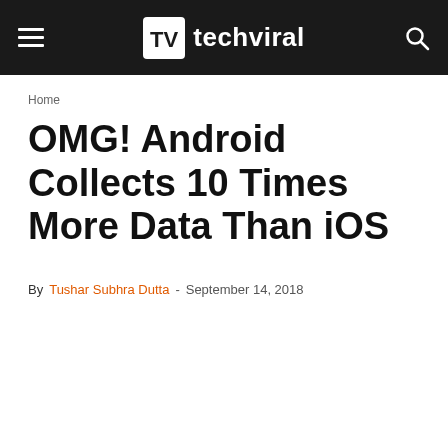techviral
Home
OMG! Android Collects 10 Times More Data Than iOS
By Tushar Subhra Dutta - September 14, 2018